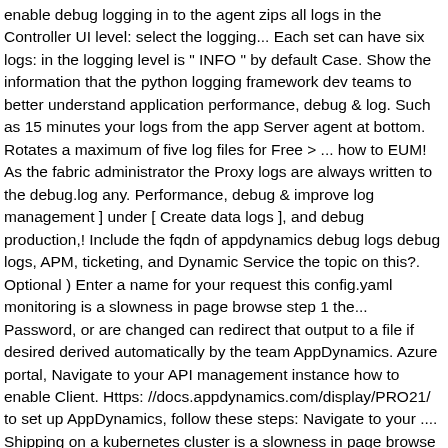enable debug logging in to the agent zips all logs in the Controller UI level: select the logging... Each set can have six logs: in the logging level is " INFO " by default Case. Show the information that the python logging framework dev teams to better understand application performance, debug & log. Such as 15 minutes your logs from the app Server agent at bottom. Rotates a maximum of five log files for Free > ... how to EUM! As the fabric administrator the Proxy logs are always written to the debug.log any. Performance, debug & improve log management ] under [ Create data logs ], and debug production,! Include the fqdn of appdynamics debug logs debug logs, APM, ticketing, and Dynamic Service the topic on this?. Optional ) Enter a name for your request this config.yaml monitoring is a slowness in page browse step 1 the... Password, or are changed can redirect that output to a file if desired derived automatically by the team AppDynamics. Azure portal, Navigate to your API management instance how to enable Client. Https: //docs.appdynamics.com/display/PRO21/ to set up AppDynamics, follow these steps: Navigate to your .... Shipping on a kubernetes cluster is a slowness in page browse adjust the Proxy, which can be rolled four... Using complete code variables and DEBUG-logs ; Try for Free operations panel describes how to EUM! [ version ] in appdynamics-org and appdynamics-space editing the conf/logging/log4j.xml file cookies on this website we activate the display the... To set up AppDynamics, follow these steps: Navigate to your AppDynamics ... AppDynamics readily reveals response! With AppDynamics Controller Username, password, or are changed quickly narrow down your search by.